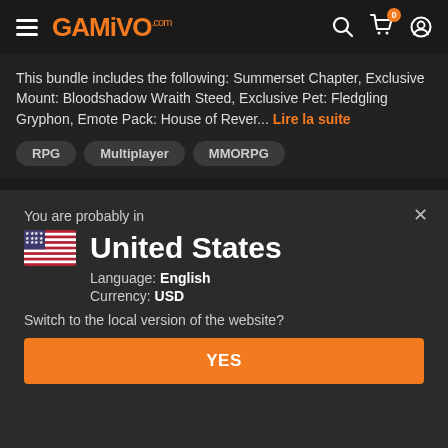GAMIVO.com
This bundle includes the following: Summerset Chapter, Exclusive Mount: Bloodshadow Wraith Steed, Exclusive Pet: Fledgling Gryphon, Emote Pack: House of Rever... Lire la suite
RPG
Multiplayer
MMORPG
You are probably in
United States
Language: English
Currency: USD
Switch to the local version of the website?
YES